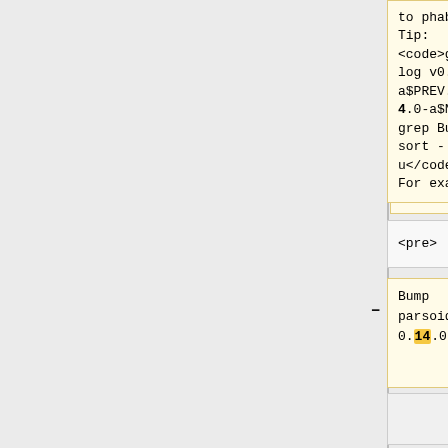to phab ( Tip: <code>git log v0.14.0-a$PREV..v0.14.0-a$NEW | grep Bug: | sort -u</code>). For example:
to phab ( Tip: <code>git log v0.16.0-a$PREV..v0.16.0-a$NEW | grep Bug: | sort -u</code>). For example:
<pre>
<pre>
Bump parsoid to 0.14.0-aN
Bump parsoid to 0.16.0-aN
This corresponds to Parsoid commit
This corresponds to Parsoid commit